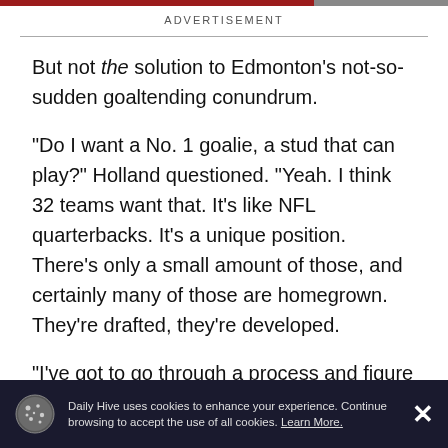ADVERTISEMENT
But not the solution to Edmonton’s not-so-sudden goaltending conundrum.
“Do I want a No. 1 goalie, a stud that can play?” Holland questioned. “Yeah. I think 32 teams want that. It’s like NFL quarterbacks. It’s a unique position. There’s only a small amount of those, and certainly many of those are homegrown. They’re drafted, they’re developed.
“I’ve got to go through a process and figure out what
Daily Hive uses cookies to enhance your experience. Continue browsing to accept the use of all cookies. Learn More.